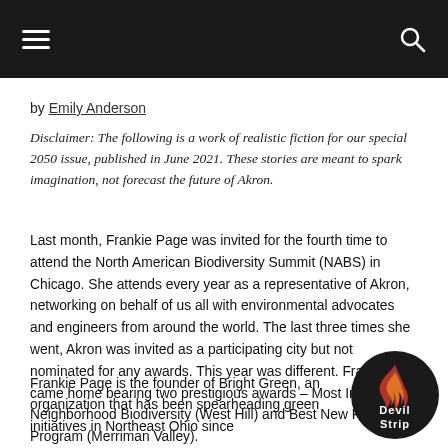[Navigation bar with menu and search icons]
by Emily Anderson
Disclaimer: The following is a work of realistic fiction for our special 2050 issue, published in June 2021. These stories are meant to spark imagination, not forecast the future of Akron.
Last month, Frankie Page was invited for the fourth time to attend the North American Biodiversity Summit (NABS) in Chicago. She attends every year as a representative of Akron, networking on behalf of us all with environmental advocates and engineers from around the world. The last three times she went, Akron was invited as a participating city but not nominated for any awards. This year was different. Frankie came home bearing two prestigious awards – Most Improved Neighborhood Biodiversity (West Hill) and Best New Pollination Program (Merriman Valley).
Frankie Page is the founder of Bright Green, an organization that has been spearheading green initiatives in Northeast Ohio since
[Figure (logo): Devil Strip circular logo with flame imagery, dark background]